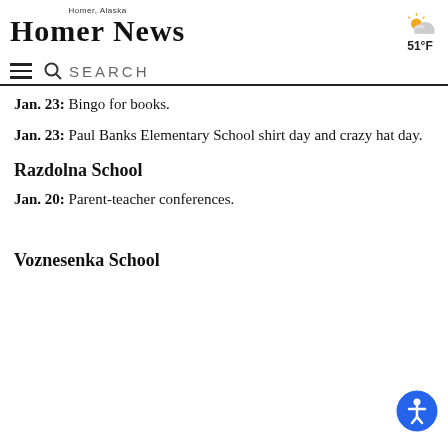Homer News — Homer, Alaska — 51°F
Jan. 23: Bingo for books.
Jan. 23: Paul Banks Elementary School shirt day and crazy hat day.
Razdolna School
Jan. 20: Parent-teacher conferences.
Voznesenka School